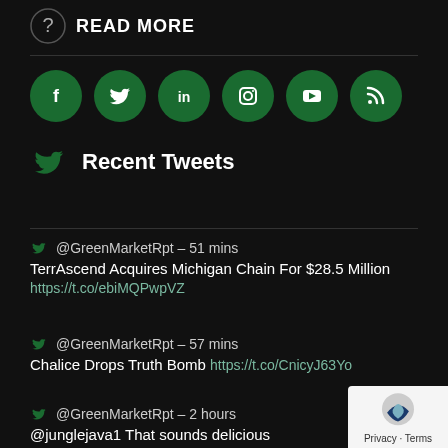READ MORE
[Figure (illustration): Row of six green circular social media icons: Facebook, Twitter, LinkedIn, Instagram, YouTube, RSS]
Recent Tweets
@GreenMarketRpt – 51 mins
TerrAscend Acquires Michigan Chain For $28.5 Million
https://t.co/ebiMQPwpVZ
@GreenMarketRpt – 57 mins
Chalice Drops Truth Bomb https://t.co/CnicyJ63Yo
@GreenMarketRpt – 2 hours
@junglejava1 That sounds delicious